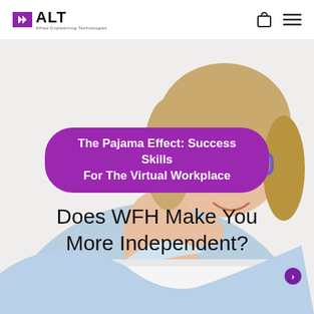ALT — Alfred Duplearning Technologies
[Figure (photo): A middle-aged blonde woman wearing blue glasses and a light blue shirt, smiling and working on a white laptop, photographed against a white background.]
The Pajama Effect: Success Skills For The Virtual Workplace
Does WFH Make You More Independent?